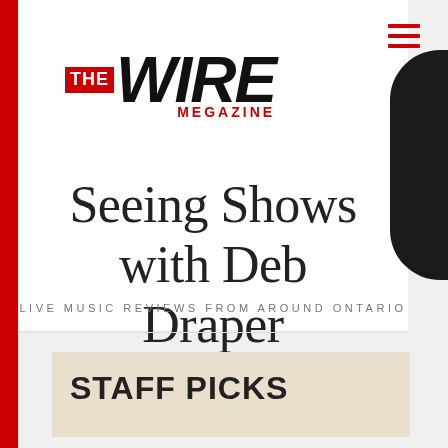[Figure (logo): The Wire MEGAZine logo with red block for THE and bold italic WIRE text with MEGAZine in red below]
Seeing Shows with Deb Draper
LIVE MUSIC REVIEWS FROM AROUND ONTARIO
STAFF PICKS